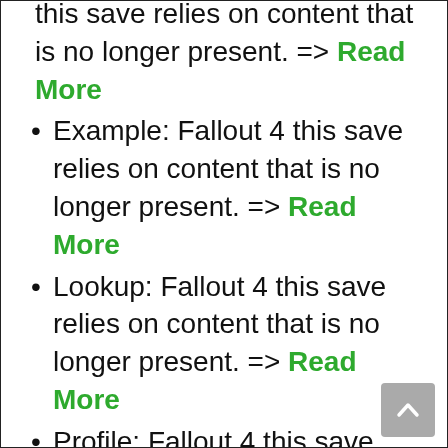this save relies on content that is no longer present. => Read More
Example: Fallout 4 this save relies on content that is no longer present. => Read More
Lookup: Fallout 4 this save relies on content that is no longer present. => Read More
Profile: Fallout 4 this save relies on content that is no